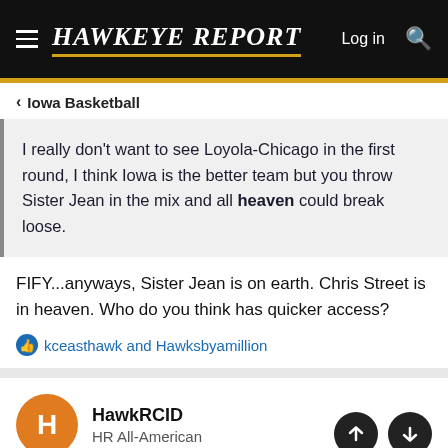HAWKEYE REPORT — Log in
Iowa Basketball
I really don't want to see Loyola-Chicago in the first round, I think Iowa is the better team but you throw Sister Jean in the mix and all heaven could break loose.
FIFY...anyways, Sister Jean is on earth. Chris Street is in heaven. Who do you think has quicker access?
kceasthawk and Hawksbyamillion
HawkRCID
HR All-American